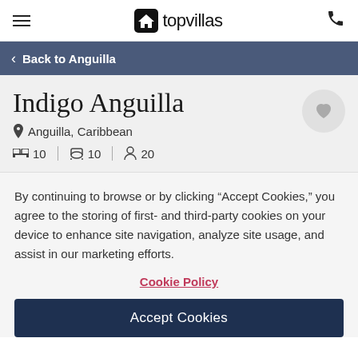topvillas — hamburger menu, logo, phone icon
< Back to Anguilla
Indigo Anguilla
Anguilla, Caribbean
10  |  10  |  20
By continuing to browse or by clicking "Accept Cookies," you agree to the storing of first- and third-party cookies on your device to enhance site navigation, analyze site usage, and assist in our marketing efforts.
Cookie Policy
Accept Cookies